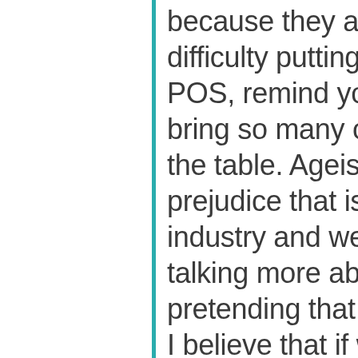because they are having difficulty putting the order in the POS, remind yourself that they bring so many other variables to the table. Ageism is a massive prejudice that is plaguing our industry and we need to start talking more about it and stop pretending that it does not exist. I believe that if we have that right balance of young and experienced people